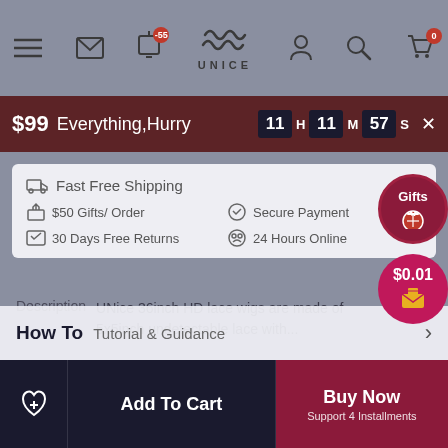UNice navigation bar with menu, mail, notifications (-55), logo, user, search, cart (0)
$99 Everything,Hurry  11 H 11 M 57 S
Fast Free Shipping
$50 Gifts/ Order
Secure Payment
30 Days Free Returns
24 Hours Online
Description  UNice 36inch HD lace wigs are made of 5x5inch undetectable lace with...
How To  Tutorial & Guidance
Add To Cart   Buy Now  Support 4 Installments